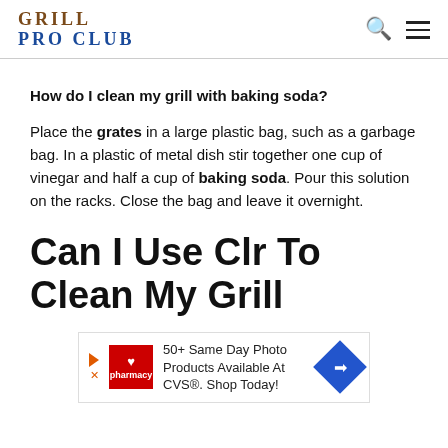GRILL PRO CLUB
How do I clean my grill with baking soda?
Place the grates in a large plastic bag, such as a garbage bag. In a plastic of metal dish stir together one cup of vinegar and half a cup of baking soda. Pour this solution on the racks. Close the bag and leave it overnight.
Can I Use Clr To Clean My Grill
[Figure (other): CVS Pharmacy advertisement: '50+ Same Day Photo Products Available At CVS®. Shop Today!']